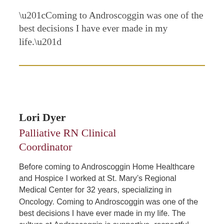“Coming to Androscoggin was one of the best decisions I have ever made in my life.”
Lori Dyer
Palliative RN Clinical Coordinator
Before coming to Androscoggin Home Healthcare and Hospice I worked at St. Mary’s Regional Medical Center for 32 years, specializing in Oncology. Coming to Androscoggin was one of the best decisions I have ever made in my life. The culture at Androscoggin is supportive, respectful, encouraging, and compassionate. This past